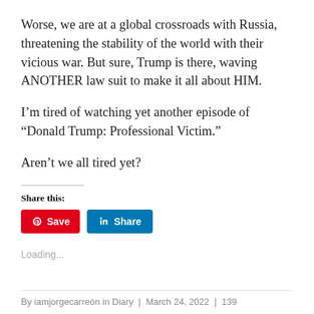Worse, we are at a global crossroads with Russia, threatening the stability of the world with their vicious war. But sure, Trump is there, waving ANOTHER law suit to make it all about HIM.
I’m tired of watching yet another episode of “Donald Trump: Professional Victim.”
Aren’t we all tired yet?
Share this:
[Figure (other): Social share buttons: Pinterest Save button (red) and LinkedIn Share button (blue)]
Loading...
By iamjorgecarreón in Diary  |  March 24, 2022  |  139